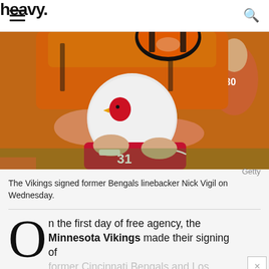heavy.
[Figure (photo): NFL football action photo: a Cincinnati Bengals player in orange uniform tackling an Arizona Cardinals player wearing a white helmet with red cardinal logo and number 31 red jersey. Crowd visible in background. Getty Images.]
Getty
The Vikings signed former Bengals linebacker Nick Vigil on Wednesday.
On the first day of free agency, the Minnesota Vikings made their signing of former Cincinnati Bengals and Los Angeles Chargers linebacker Nick Vigil official